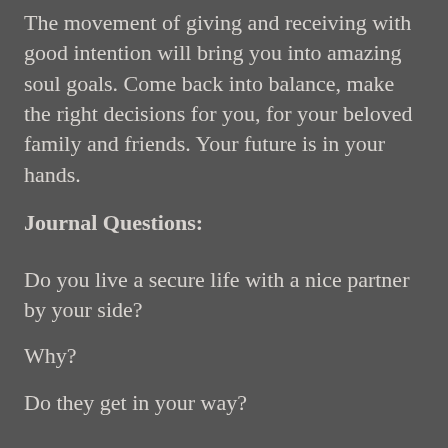The movement of giving and receiving with good intention will bring you into amazing soul goals. Come back into balance, make the right decisions for you, for your beloved family and friends. Your future is in your hands.
Journal Questions:
Do you live a secure life with a nice partner by your side?
Why?
Do they get in your way?